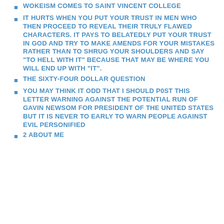WOKEISM COMES TO SAINT VINCENT COLLEGE
IT HURTS WHEN YOU PUT YOUR TRUST IN MEN WHO THEN PROCEED TO REVEAL THEIR TRULY FLAWED CHARACTERS. IT PAYS TO BELATEDLY PUT YOUR TRUST IN GOD AND TRY TO MAKE AMENDS FOR YOUR MISTAKES RATHER THAN TO SHRUG YOUR SHOULDERS AND SAY "TO HELL WITH IT" BECAUSE THAT MAY BE WHERE YOU WILL END UP WITH "IT".
THE SIXTY-FOUR DOLLAR QUESTION
YOU MAY THINK IT ODD THAT I SHOULD P0ST THIS LETTER WARNING AGAINST THE POTENTIAL RUN OF GAVIN NEWSOM FOR PRESIDENT OF THE UNITED STATES BUT IT IS NEVER TO EARLY TO WARN PEOPLE AGAINST EVIL PERSONIFIED
2 ABOUT ME